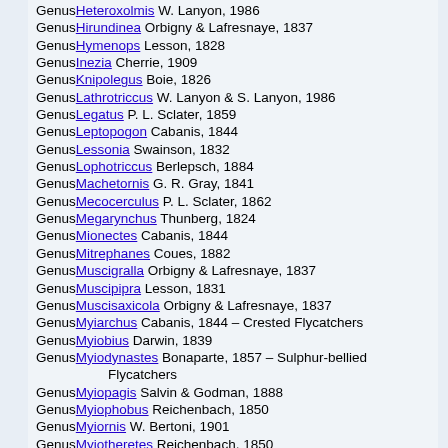Genus Heteroxolmis W. Lanyon, 1986
Genus Hirundinea Orbigny & Lafresnaye, 1837
Genus Hymenops Lesson, 1828
Genus Inezia Cherrie, 1909
Genus Knipolegus Boie, 1826
Genus Lathrotriccus W. Lanyon & S. Lanyon, 1986
Genus Legatus P. L. Sclater, 1859
Genus Leptopogon Cabanis, 1844
Genus Lessonia Swainson, 1832
Genus Lophotriccus Berlepsch, 1884
Genus Machetornis G. R. Gray, 1841
Genus Mecocerculus P. L. Sclater, 1862
Genus Megarynchus Thunberg, 1824
Genus Mionectes Cabanis, 1844
Genus Mitrephanes Coues, 1882
Genus Muscigralla Orbigny & Lafresnaye, 1837
Genus Muscipipra Lesson, 1831
Genus Muscisaxicola Orbigny & Lafresnaye, 1837
Genus Myiarchus Cabanis, 1844 – Crested Flycatchers
Genus Myiobius Darwin, 1839
Genus Myiodynastes Bonaparte, 1857 – Sulphur-bellied Flycatchers
Genus Myiopagis Salvin & Godman, 1888
Genus Myiophobus Reichenbach, 1850
Genus Myiornis W. Bertoni, 1901
Genus Myiotheretes Reichenbach, 1850
Genus Myiotriccus Ridgway, 1905
Genus Myiozetetes P. L. Sclater, 1859
Genus Neopipo P. L. Sclater & Salvin, 1869
Genus Neoxolmis Hellmayr, 1927
Genus Nesotriccus C. H. Townsend, 1895
Genus Ochthoeca Cabanis, 1847